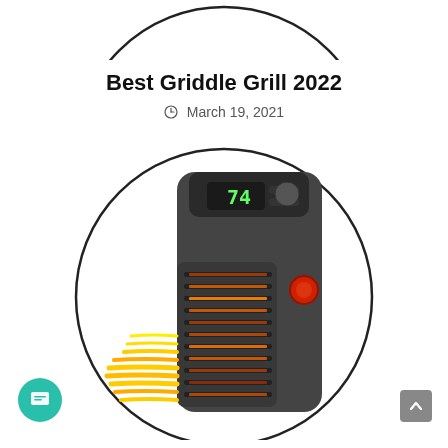[Figure (other): Partial circular frame at top of page showing bottom arc of a circle, partially cropped]
Best Griddle Grill 2022
March 19, 2021
[Figure (photo): A small portable electric space heater with a digital display showing 74, a red power button on the side, and glowing heating elements visible through vents at the front, enclosed in a circular frame/border]